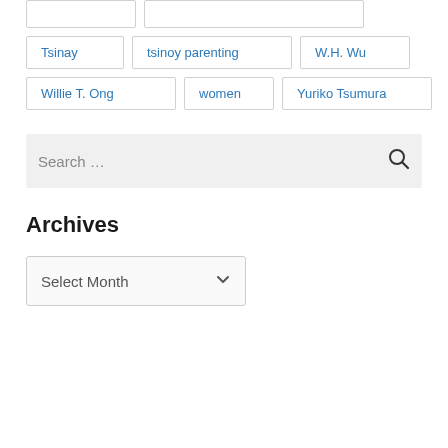Tsinay
tsinoy parenting
W.H. Wu
Willie T. Ong
women
Yuriko Tsumura
Search …
Archives
Select Month